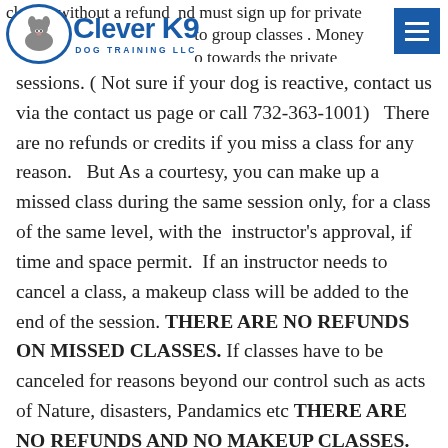Clever K9 Dog Training LLC — classes without a refund and must sign up for private — to group classes. Money — o towards the private
sessions. ( Not sure if your dog is reactive, contact us via the contact us page or call 732-363-1001)   There are no refunds or credits if you miss a class for any reason.   But As a courtesy, you can make up a missed class during the same session only, for a class of the same level, with the  instructor's approval, if time and space permit.  If an instructor needs to cancel a class, a makeup class will be added to the end of the session.  THERE ARE NO REFUNDS ON MISSED CLASSES. If classes have to be canceled for reasons beyond our control such as acts of Nature, disasters, Pandamics etc THERE ARE NO REFUNDS AND NO MAKEUP CLASSES. The remaining classes we will do remote